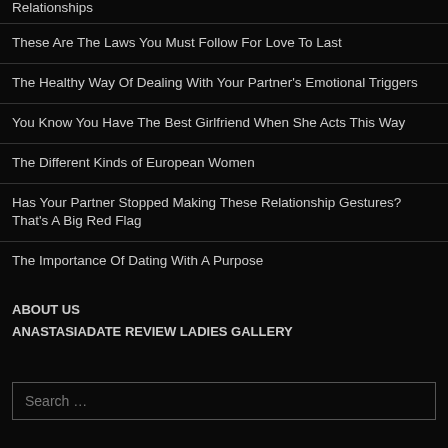Relationships
These Are The Laws You Must Follow For Love To Last
The Healthy Way Of Dealing With Your Partner's Emotional Triggers
You Know You Have The Best Girlfriend When She Acts This Way
The Different Kinds of European Women
Has Your Partner Stopped Making These Relationship Gestures? That's A Big Red Flag
The Importance Of Dating With A Purpose
ABOUT US
ANASTASIADATE REVIEW LADIES GALLERY
Search ...